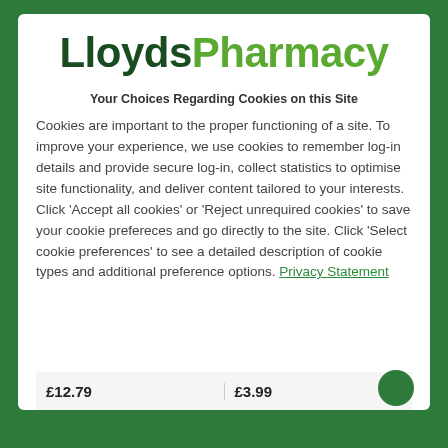[Figure (logo): LloydsPharmacy logo with 'Lloyds' in dark green and 'Pharmacy' in light green]
Your Choices Regarding Cookies on this Site
Cookies are important to the proper functioning of a site. To improve your experience, we use cookies to remember log-in details and provide secure log-in, collect statistics to optimise site functionality, and deliver content tailored to your interests. Click 'Accept all cookies' or 'Reject unrequired cookies' to save your cookie prefereces and go directly to the site. Click 'Select cookie preferences' to see a detailed description of cookie types and additional preference options. Privacy Statement
£12.79
£3.99